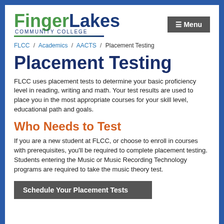[Figure (logo): Finger Lakes Community College logo with green 'Finger' and dark blue 'Lakes' text and 'COMMUNITY COLLEGE' subtitle]
≡ Menu
FLCC / Academics / AACTS / Placement Testing
Placement Testing
FLCC uses placement tests to determine your basic proficiency level in reading, writing and math. Your test results are used to place you in the most appropriate courses for your skill level, educational path and goals.
Who Needs to Test
If you are a new student at FLCC, or choose to enroll in courses with prerequisites, you'll be required to complete placement testing. Students entering the Music or Music Recording Technology programs are required to take the music theory test.
Schedule Your Placement Tests